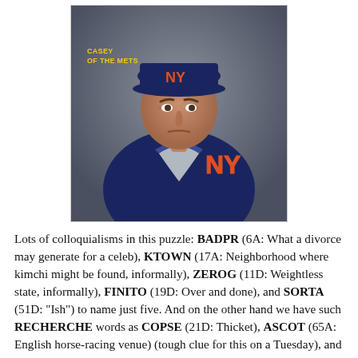[Figure (photo): Photo of Casey Stengel wearing a New York Mets uniform and jacket, with text 'CASEY OF THE METS' overlaid in yellow on the left side of the image.]
Lots of colloquialisms in this puzzle: BADPR (6A: What a divorce may generate for a celeb), KTOWN (17A: Neighborhood where kimchi might be found, informally), ZEROG (11D: Weightless state, informally), FINITO (19D: Over and done), and SORTA (51D: "Ish") to name just five. And on the other hand we have such RECHERCHE words as COPSE (21D: Thicket), ASCOT (65A: English horse-racing venue) (tough clue for this on a Tuesday), and PITON